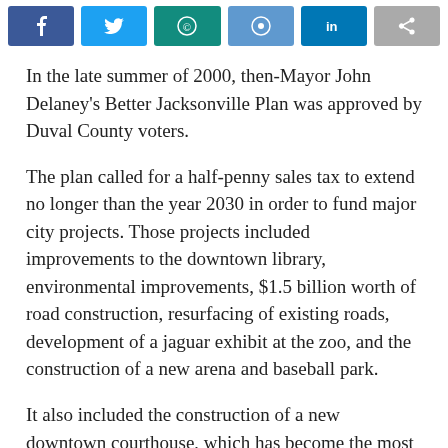[Figure (other): Social media share buttons: Facebook, Twitter, WhatsApp, Reddit, LinkedIn, Share]
In the late summer of 2000, then-Mayor John Delaney's Better Jacksonville Plan was approved by Duval County voters.
The plan called for a half-penny sales tax to extend no longer than the year 2030 in order to fund major city projects. Those projects included improvements to the downtown library, environmental improvements, $1.5 billion worth of road construction, resurfacing of existing roads, development of a jaguar exhibit at the zoo, and the construction of a new arena and baseball park.
It also included the construction of a new downtown courthouse, which has become the most infamous aspect of the plan due to its many construction delays.